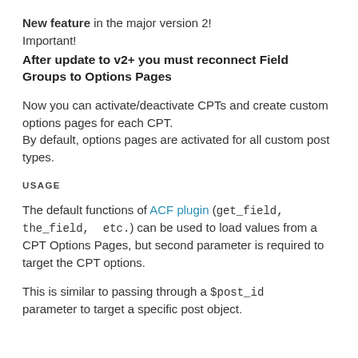New feature in the major version 2! Important! After update to v2+ you must reconnect Field Groups to Options Pages
Now you can activate/deactivate CPTs and create custom options pages for each CPT. By default, options pages are activated for all custom post types.
USAGE
The default functions of ACF plugin (get_field, the_field, etc.) can be used to load values from a CPT Options Pages, but second parameter is required to target the CPT options.
This is similar to passing through a $post_id parameter to target a specific post object.